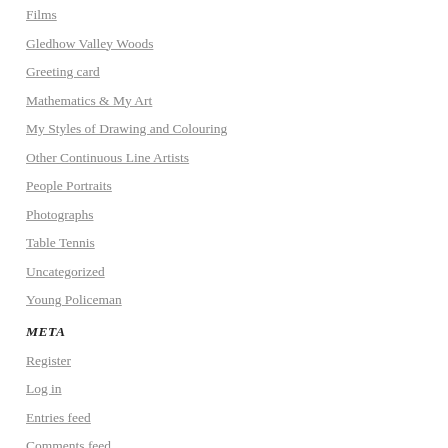Films
Gledhow Valley Woods
Greeting card
Mathematics & My Art
My Styles of Drawing and Colouring
Other Continuous Line Artists
People Portraits
Photographs
Table Tennis
Uncategorized
Young Policeman
META
Register
Log in
Entries feed
Comments feed